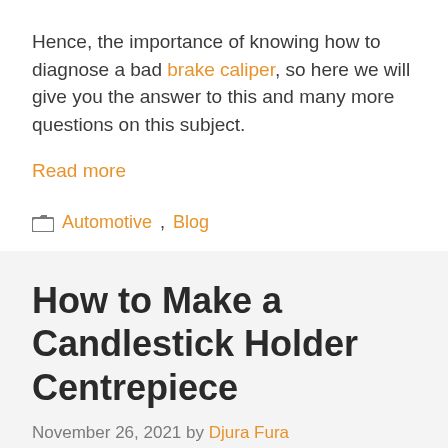Hence, the importance of knowing how to diagnose a bad brake caliper, so here we will give you the answer to this and many more questions on this subject.
Read more
Automotive, Blog
How to Make a Candlestick Holder Centrepiece
November 26, 2021 by Djura Fura